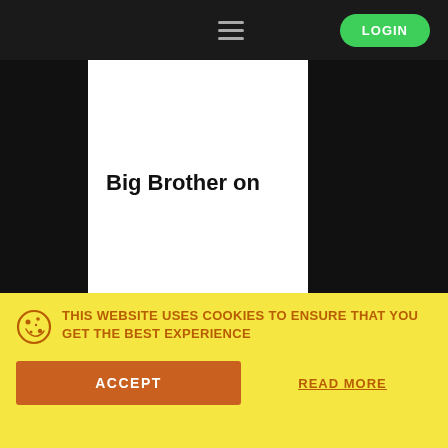LOGIN
Big Brother on
Watch new episodes and drama on Paramou
THIS WEBSITE USES COOKIES TO ENSURE THAT YOU GET THE BEST EXPERIENCE
ACCEPT
READ MORE